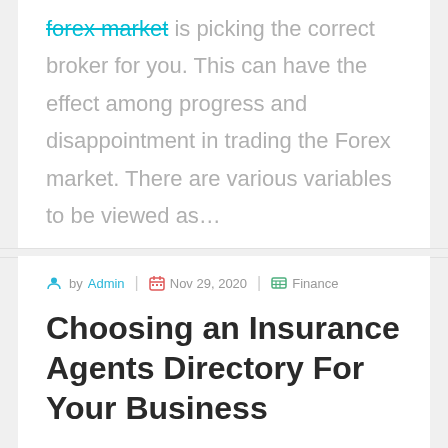forex market is picking the correct broker for you. This can have the effect among progress and disappointment in trading the Forex market. There are various variables to be viewed as…
by Admin | Nov 29, 2020 | Finance
Choosing an Insurance Agents Directory For Your Business